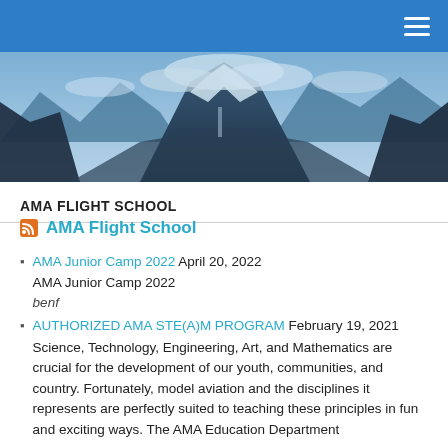Navigation bar with hamburger menu
[Figure (photo): Panoramic mountain valley landscape with snow-capped peaks and clouds]
AMA FLIGHT SCHOOL
AMA Flight School
AMA Junior Camp 2022 April 20, 2022
AMA Junior Camp 2022
benf
AUTHORIZED AMA STE(A)M PROGRAM February 19, 2021
Science, Technology, Engineering, Art, and Mathematics are crucial for the development of our youth, communities, and country. Fortunately, model aviation and the disciplines it represents are perfectly suited to teaching these principles in fun and exciting ways. The AMA Education Department